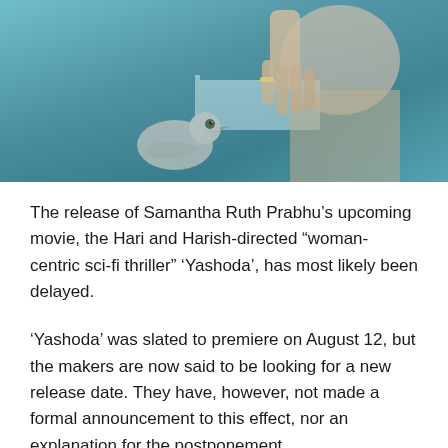[Figure (photo): A close-up scene from the movie Yashoda showing a person's hand and a bird (pigeon/dove), with a blurred figure in the background against a teal/blue-tinted background.]
The release of Samantha Ruth Prabhu's upcoming movie, the Hari and Harish-directed “woman-centric sci-fi thriller” ‘Yashoda’, has most likely been delayed.
‘Yashoda’ was slated to premiere on August 12, but the makers are now said to be looking for a new release date. They have, however, not made a formal announcement to this effect, nor an explanation for the postponement.
The upcoming drama ‘Yashoda’ is a survival thriller about an imprisoned woman, played by Samantha Ruth Prabhu. It